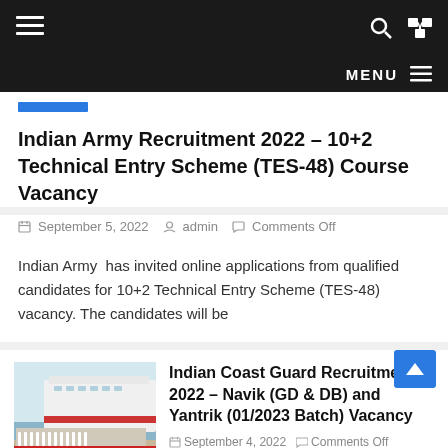☰  🔍  ⇄  MENU ☰
Indian Army Recruitment 2022 – 10+2 Technical Entry Scheme (TES-48) Course Vacancy
September 5, 2022  admin  Comments Off
Indian Army  has invited online applications from qualified candidates for 10+2 Technical Entry Scheme (TES-48) vacancy. The candidates will be
[Figure (photo): Photo of Indian Coast Guard personnel in white uniforms standing in formation in front of a large white Coast Guard ship]
Indian Coast Guard Recruitment 2022 – Navik (GD & DB) and Yantrik (01/2023 Batch) Vacancy
September 4, 2022  Comments Off
[Figure (photo): Partial photo at bottom of page - appears to be a government building or campus]